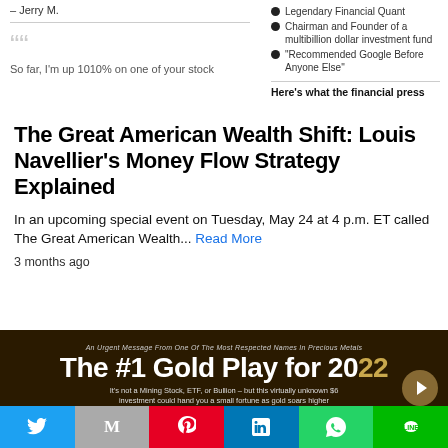– Jerry M.
Legendary Financial Quant
Chairman and Founder of a multibillion dollar investment fund
"Recommended Google Before Anyone Else"
Here's what the financial press
So far, I'm up 1010% on one of your stock
The Great American Wealth Shift: Louis Navellier's Money Flow Strategy Explained
In an upcoming special event on Tuesday, May 24 at 4 p.m. ET called The Great American Wealth... Read More
3 months ago
[Figure (infographic): Promotional banner: 'The #1 Gold Play for 2022' — An Urgent Message From One Of The Most Respected Names In Precious Metals. It's not a Mining Stock, ETF, or Bullion – but this virtually unknown $6 investment could hand you a small fortune as gold soars higher. Play button overlay.]
[Figure (infographic): Social sharing bar with Twitter, Gmail, Pinterest, LinkedIn, WhatsApp, LINE buttons]